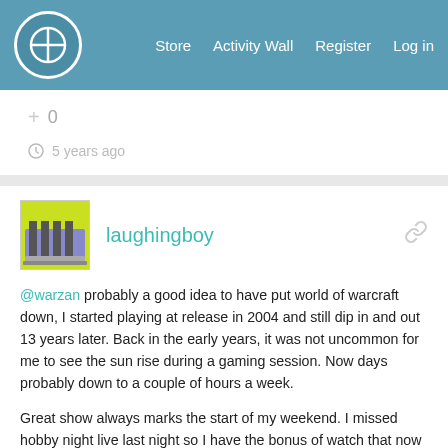Store  Activity Wall  Register  Log in
+ 0
5 years ago
laughingboy
@warzan probably a good idea to have put world of warcraft down, I started playing at release in 2004 and still dip in and out 13 years later. Back in the early years, it was not uncommon for me to see the sun rise during a gaming session. Now days probably down to a couple of hours a week.

Great show always marks the start of my weekend. I missed hobby night live last night so I have the bonus of watch that now and watching XLBS tomorrow. Have a great weekend all.
+ 0